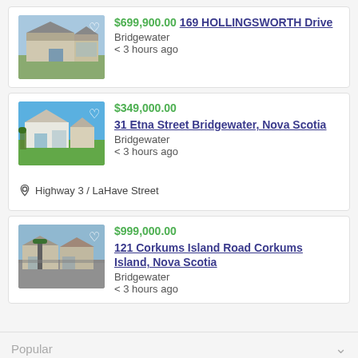[Figure (photo): House listing photo showing a residential home with driveway and garage, cloudy sky]
$699,900.00 169 HOLLINGSWORTH Drive
Bridgewater
< 3 hours ago
[Figure (photo): House listing photo showing a modern white residential home with green lawn and blue sky]
$349,000.00 31 Etna Street Bridgewater, Nova Scotia
Bridgewater
< 3 hours ago
Highway 3 / LaHave Street
[Figure (photo): House listing photo showing residential homes with trees and paved driveway]
$999,000.00 121 Corkums Island Road Corkums Island, Nova Scotia
Bridgewater
< 3 hours ago
Popular